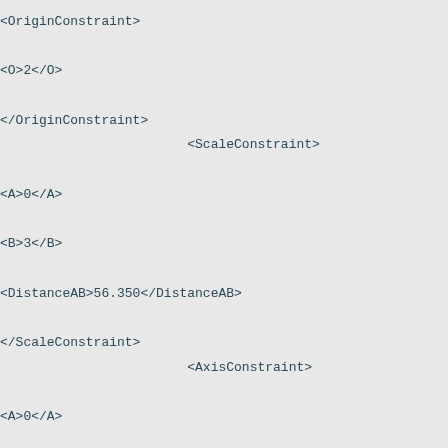<OriginConstraint>

<O>2</O>

</OriginConstraint>
                        <ScaleConstraint>

<A>0</A>

<B>3</B>

<DistanceAB>56.350</DistanceAB>

</ScaleConstraint>
                        <AxisConstraint>

<A>0</A>

<B>3</B>

<AxisAB>z</AxisAB> --><!-- x, y, or z --><!--